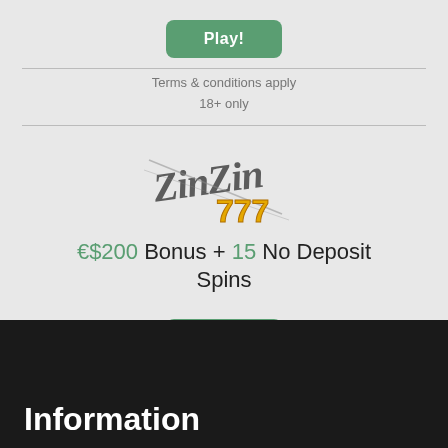Play!
Terms & conditions apply
18+ only
[Figure (logo): Zin Zin 777 casino logo with stylized script text and golden 777 slot machine numbers]
€$200 Bonus + 15 No Deposit Spins
Play!
Terms & conditions apply
18+ only
Information